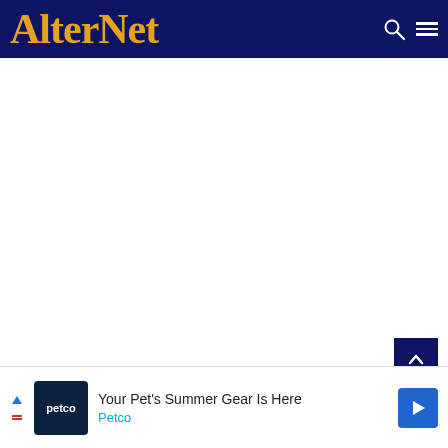AlterNet
[Figure (other): Large blank white content area — main article content area of AlterNet website, mostly empty/loading]
[Figure (other): Scroll-to-top button: dark navy blue square with white chevron/caret pointing up]
[Figure (other): Close (X) button: white rounded square with X symbol, positioned at bottom right]
[Figure (other): Advertisement banner at bottom: Petco ad reading 'Your Pet's Summer Gear Is Here' with Petco logo and navigation arrow icon]